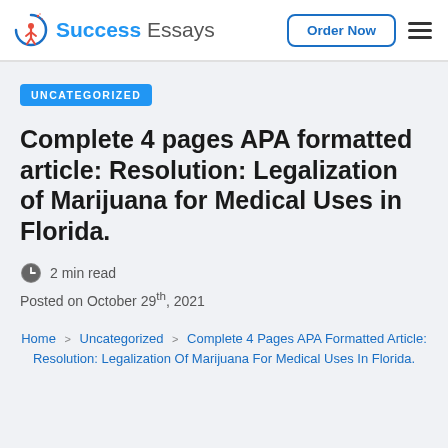Success Essays — Order Now
UNCATEGORIZED
Complete 4 pages APA formatted article: Resolution: Legalization of Marijuana for Medical Uses in Florida.
2 min read
Posted on October 29th, 2021
Home > Uncategorized > Complete 4 Pages APA Formatted Article: Resolution: Legalization Of Marijuana For Medical Uses In Florida.